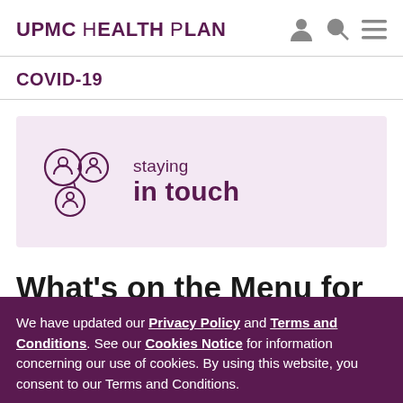UPMC Health Plan
COVID-19
[Figure (logo): Staying in touch banner with connected people icons on lavender background]
What's on the Menu for Dinner Tonight?
We have updated our Privacy Policy and Terms and Conditions. See our Cookies Notice for information concerning our use of cookies. By using this website, you consent to our Terms and Conditions.